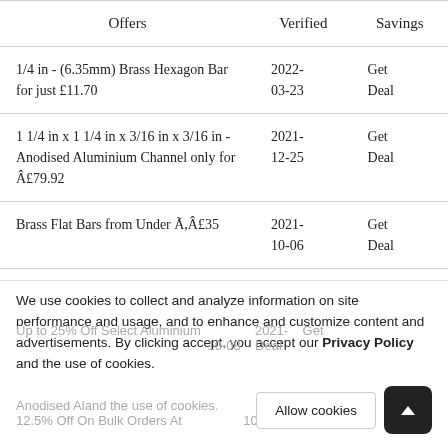| Offers | Verified | Savings |
| --- | --- | --- |
| 1/4 in - (6.35mm) Brass Hexagon Bar for just £11.70 | 2022-03-23 | Get Deal |
| 1 1/4 in x 1 1/4 in x 3/16 in x 3/16 in - Anodised Aluminium Channel only for Â£79.92 | 2021-12-25 | Get Deal |
| Brass Flat Bars from Under Ã,Â£35 | 2021-10-06 | Get Deal |
We use cookies to collect and analyze information on site performance and usage, and to enhance and customize content and advertisements. By clicking accept, you accept our Privacy Policy and the use of cookies.
Up to 25% Off Select Aluminium  2021-  Get
10-08  Deal
Anodised Al...  2021-  Deal
12.5% Off On Bulk Orders At  10-06  Deal